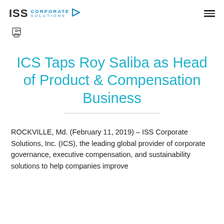ISS Corporate Solutions
ICS Taps Roy Saliba as Head of Product & Compensation Business
ROCKVILLE, Md. (February 11, 2019) – ISS Corporate Solutions, Inc. (ICS), the leading global provider of corporate governance, executive compensation, and sustainability solutions to help companies improve